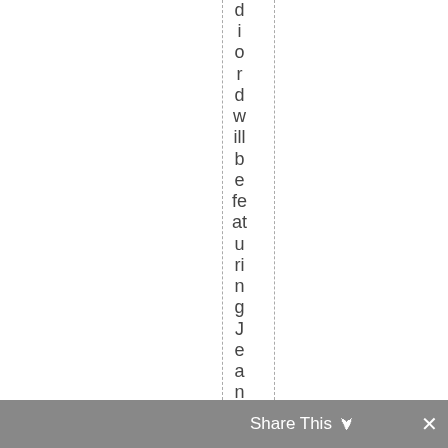disorder will be featuring Jeanne LaRe
[Figure (screenshot): Share This toolbar at the bottom of the page]